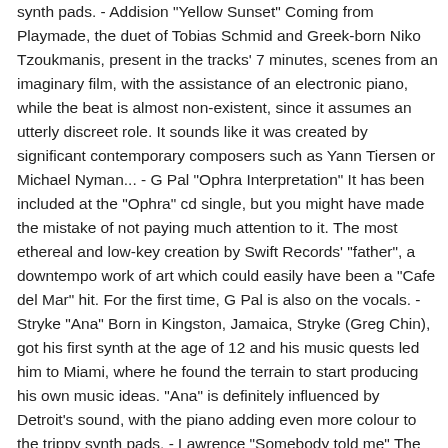synth pads. - Addision "Yellow Sunset" Coming from Playmade, the duet of Tobias Schmid and Greek-born Niko Tzoukmanis, present in the tracks' 7 minutes, scenes from an imaginary film, with the assistance of an electronic piano, while the beat is almost non-existent, since it assumes an utterly discreet role. It sounds like it was created by significant contemporary composers such as Yann Tiersen or Michael Nyman... - G Pal "Ophra Interpretation" It has been included at the "Ophra" cd single, but you might have made the mistake of not paying much attention to it. The most ethereal and low-key creation by Swift Records' "father", a downtempo work of art which could easily have been a "Cafe del Mar" hit. For the first time, G Pal is also on the vocals. - Stryke "Ana" Born in Kingston, Jamaica, Stryke (Greg Chin), got his first synth at the age of 12 and his music quests led him to Miami, where he found the terrain to start producing his own music ideas. "Ana" is definitely influenced by Detroit's sound, with the piano adding even more colour to the trippy synth pads. - Lawrence "Somebody told me" The piano and the chords are most prominent, while the smooth beats that come in afterwards, make it the most